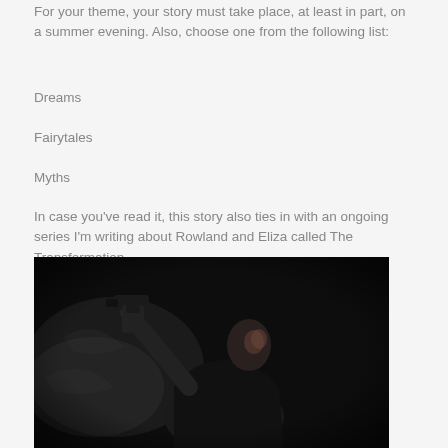For your theme, your story must take place, at least in part, on a summer evening. Also, choose one from the following list:
Dreams
Fairytales
Myths
In case you've read it, this story also ties in with an ongoing series I'm writing about Rowland and Eliza called The Transformation.
[Figure (photo): Dark dramatic black and white photograph of a man in a crouching position holding a handgun raised upward, with dramatic lighting and smoke/haze in the background.]